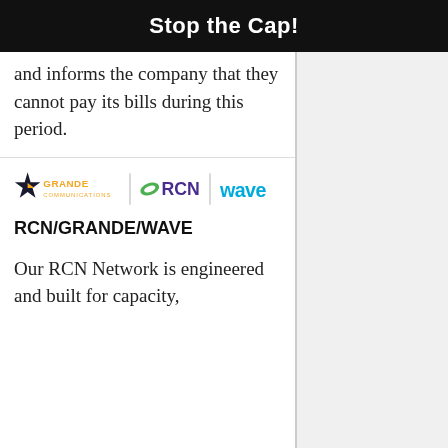Stop the Cap!
and informs the company that they cannot pay its bills during this period.
[Figure (logo): Combined logo of Grande Communications, RCN, and Wave broadband companies side by side]
RCN/GRANDE/WAVE
Our RCN Network is engineered and built for capacity,